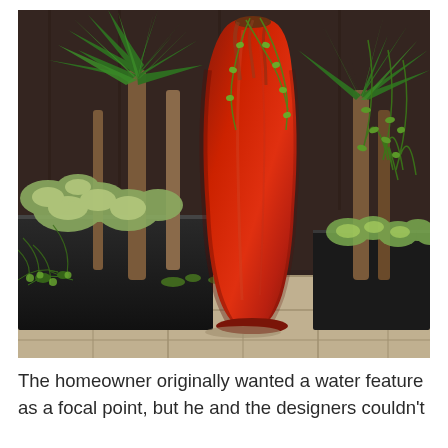[Figure (photo): Outdoor garden scene featuring a tall red glazed ceramic vase/urn as the focal point, surrounded by lush green plants including yucca palms, variegated succulents, trailing plants, and coral-like green foliage. Black rectangular planters are visible on the left. The setting appears to be a patio with concrete tiles.]
The homeowner originally wanted a water feature as a focal point, but he and the designers couldn't